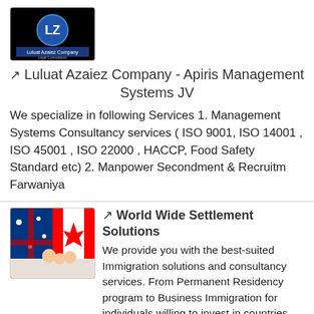[Figure (logo): Luluat Azaiez Company logo - black background with blue circle containing LZ initials]
↗ Luluat Azaiez Company - Apiris Management Systems JV
We specialize in following Services 1. Management Systems Consultancy services ( ISO 9001, ISO 14001 , ISO 45001 , ISO 22000 , HACCP, Food Safety Standard etc) 2. Manpower Secondment & Recruitm Farwaniya
[Figure (photo): World Wide Settlement Solutions logo - Australian and Canadian flags with family photo]
↗ World Wide Settlement Solutions
We provide you with the best-suited Immigration solutions and consultancy services. From Permanent Residency program to Business Immigration for individuals willing to invest in countries like Canada, Salmiya
go top
[Figure (logo): Worldcentre Kuwait logo - partial view]
↗ Worldcentre Kuwait